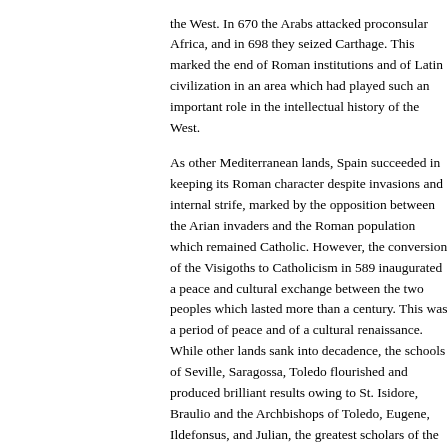the West. In 670 the Arabs attacked proconsular Africa, and in 698 they seized Carthage. This marked the end of Roman institutions and of Latin civilization in an area which had played such an important role in the intellectual history of the West.
As other Mediterranean lands, Spain succeeded in keeping its Roman character despite invasions and internal strife, marked by the opposition between the Arian invaders and the Roman population which remained Catholic. However, the conversion of the Visigoths to Catholicism in 589 inaugurated a peace and cultural exchange between the two peoples which lasted more than a century. This was a period of peace and of a cultural renaissance. While other lands sank into decadence, the schools of Seville, Saragossa, Toledo flourished and produced brilliant results owing to St. Isidore, Braulio and the Archbishops of Toledo, Eugene, Ildefonsus, and Julian, the greatest scholars of the seventh century. The Visigothic kings encouraged writing and even composed literary works themselves. The originality of Visigothic culture was reflected in the role of grammar and rhetoric. The ancient educational program had survived, and learned bishops studied ancient poetry, for in spite of the repugnance felt by many other Christians studying literature filled with pagan elements.